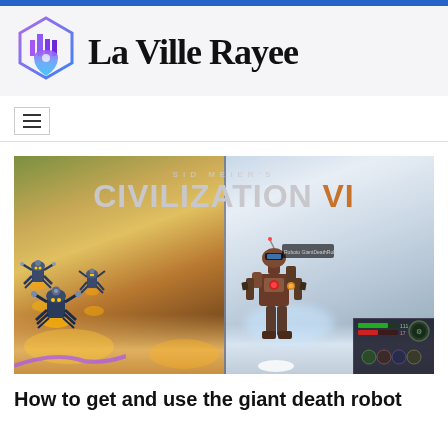La Ville Rayee
[Figure (screenshot): Sid Meier's Civilization VI game screenshot showing giant death robots (mechanical spider-like units) on the left side and a battle mech unit on a snowy map on the right side, with the Civilization VI logo overlaid at the top]
How to get and use the giant death robot